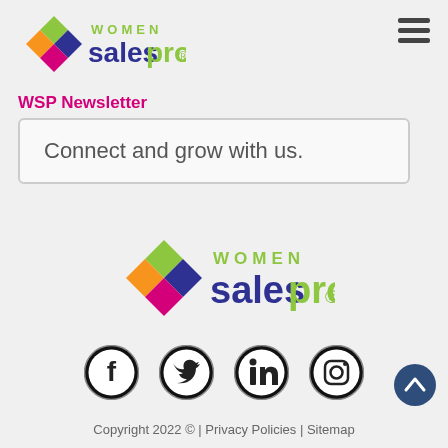[Figure (logo): Women Sales Pros logo in header — colorful diamond/X icon with 'WOMEN' above 'salespros.' in blue and green]
[Figure (other): Hamburger menu icon (three horizontal lines) in top right corner]
WSP Newsletter
Connect and grow with us.
[Figure (logo): Women Sales Pros logo centered — colorful diamond/X icon with 'WOMEN' above 'salespros.' in blue and green, larger version]
[Figure (other): Social media icons row: Facebook, Twitter, LinkedIn, Instagram — all in circular black/white style]
Copyright 2022 © | Privacy Policies | Sitemap